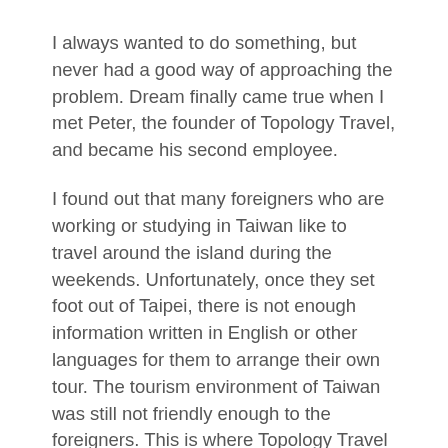I always wanted to do something, but never had a good way of approaching the problem. Dream finally came true when I met Peter, the founder of Topology Travel, and became his second employee.
I found out that many foreigners who are working or studying in Taiwan like to travel around the island during the weekends. Unfortunately, once they set foot out of Taipei, there is not enough information written in English or other languages for them to arrange their own tour. The tourism environment of Taiwan was still not friendly enough to the foreigners. This is where Topology Travel comes in. We fill this gap with great service from our travel consultants and tour guides. This was totally different from what other travel agencies were doing back then, which was to focus more on the Chinese tourists. We chose the path less taken by providing